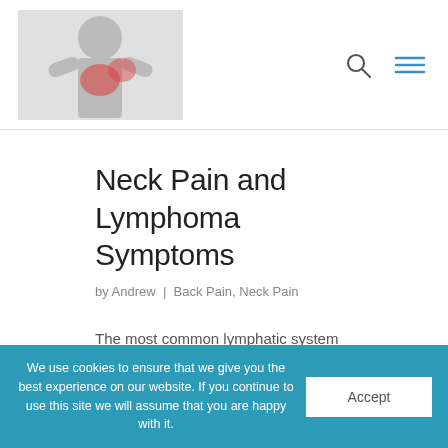[Figure (photo): Website header logo showing a person holding their back/shoulder area with a red highlighted pain zone, black and white photo with red accent]
Neck Pain and Lymphoma Symptoms
by Andrew | Back Pain, Neck Pain
The most common lymphatic system cancer is non-Hodgkin lymphoma, which has escalated considerable over the last twenty-five years. Non-Hodgkin lymphoma affects the lymphatic system and
We use cookies to ensure that we give you the best experience on our website. If you continue to use this site we will assume that you are happy with it.